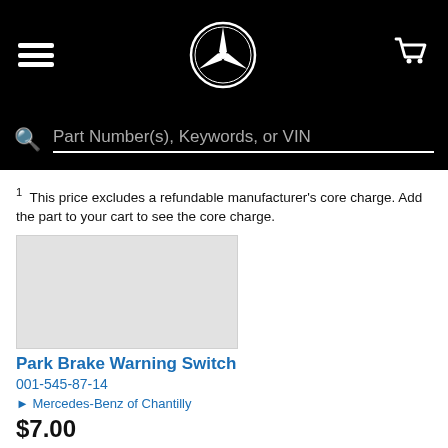Mercedes-Benz navigation header with hamburger menu, star logo, and cart icon
Part Number(s), Keywords, or VIN
1  This price excludes a refundable manufacturer's core charge. Add the part to your cart to see the core charge.
[Figure (photo): Product image placeholder for Park Brake Warning Switch]
Park Brake Warning Switch
001-545-87-14
Mercedes-Benz of Chantilly
$7.00
Add To Cart